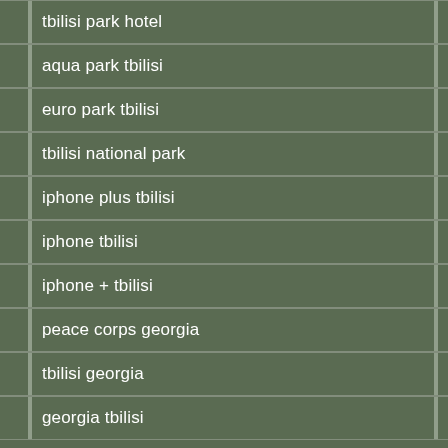tbilisi park hotel
aqua park tbilisi
euro park tbilisi
tbilisi national park
iphone plus tbilisi
iphone tbilisi
iphone + tbilisi
peace corps georgia
tbilisi georgia
georgia tbilisi